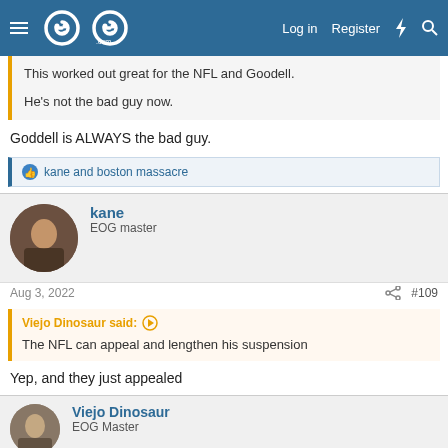EOG forum header with logo, Log in, Register links
This worked out great for the NFL and Goodell.

He's not the bad guy now.
Goddell is ALWAYS the bad guy.
kane and boston massacre
kane
EOG master
Aug 3, 2022
#109
Viejo Dinosaur said:
The NFL can appeal and lengthen his suspension
Yep, and they just appealed
Viejo Dinosaur
EOG Master